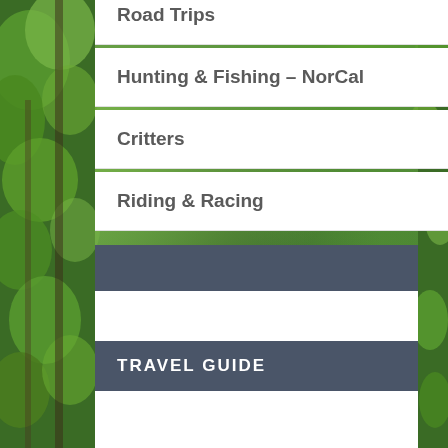[Figure (photo): Forest background with green trees and foliage visible on left and right sides of the page]
Road Trips
Hunting & Fishing – NorCal
Critters
Riding & Racing
TRAVEL GUIDE